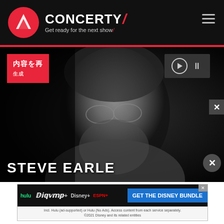CONCERTY — Get ready for the next show
[Figure (photo): Black and white close-up portrait of Steve Earle, a bearded man wearing glasses and a leather jacket, shown against a dark background. A red badge with Japanese characters appears top-left, media controls (play and pause) top-right. 'STEVE EARLE' text appears at the bottom in large white letters.]
[Figure (infographic): Disney Bundle advertisement showing Hulu, Disney+, ESPN+ logos with 'GET THE DISNEY BUNDLE' call to action in blue. Fine print reads: Incl. Hulu (ad-supported) or Hulu (No Ads). Access content from each service separately. ©2021 Disney and its related entities.]